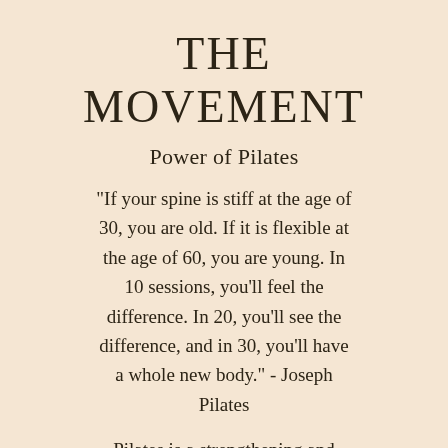THE MOVEMENT
Power of Pilates
"If your spine is stiff at the age of 30, you are old. If it is flexible at the age of 60, you are young. In 10 sessions, you'll feel the difference. In 20, you'll see the difference, and in 30, you'll have a whole new body." - Joseph Pilates
Pilates is a strengthening and lengthening form of exercise